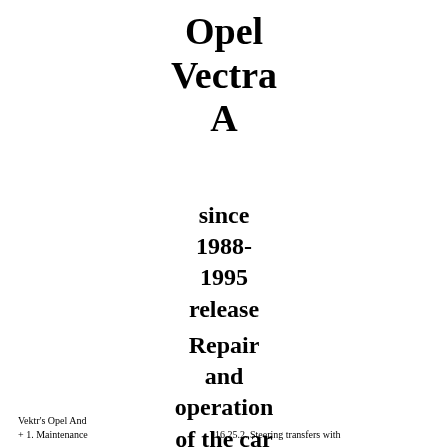Opel Vectra A
since 1988-1995 release
Repair and operation of the car
Vektr's Opel And
+ 1. Maintenance
16.25.2. Steering transfers with